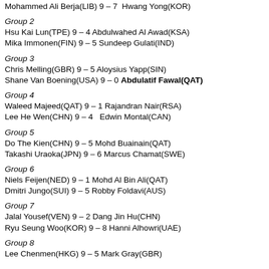Mohammed Ali Berja(LIB) 9 – 7  Hwang Yong(KOR)
Group 2
Hsu Kai Lun(TPE) 9 – 4 Abdulwahed Al Awad(KSA)
Mika Immonen(FIN) 9 – 5 Sundeep Gulati(IND)
Group 3
Chris Melling(GBR) 9 – 5 Aloysius Yapp(SIN)
Shane Van Boening(USA) 9 – 0 Abdulatif Fawal(QAT)
Group 4
Waleed Majeed(QAT) 9 – 1 Rajandran Nair(RSA)
Lee He Wen(CHN) 9 – 4   Edwin Montal(CAN)
Group 5
Do The Kien(CHN) 9 – 5 Mohd Buainain(QAT)
Takashi Uraoka(JPN) 9 – 6 Marcus Chamat(SWE)
Group 6
Niels Feijen(NED) 9 – 1 Mohd Al Bin Ali(QAT)
Dmitri Jungo(SUI) 9 – 5 Robby Foldavi(AUS)
Group 7
Jalal Yousef(VEN) 9 – 2 Dang Jin Hu(CHN)
Ryu Seung Woo(KOR) 9 – 8 Hanni Alhowri(UAE)
Group 8
Lee Chenmen(HKG) 9 – 5 Mark Gray(GBR)